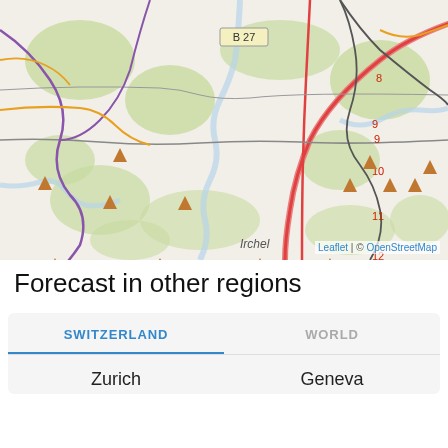[Figure (map): OpenStreetMap showing a region with roads, green forest areas, rivers, route markers (8, 9, 9, 10, 11, 12), highway label B 27, location name Irchel, and orange triangle markers indicating points of interest. Attribution: Leaflet | © OpenStreetMap]
Forecast in other regions
| SWITZERLAND | WORLD |
| --- | --- |
| Zurich | Geneva |
SWITZERLAND (active tab)
WORLD